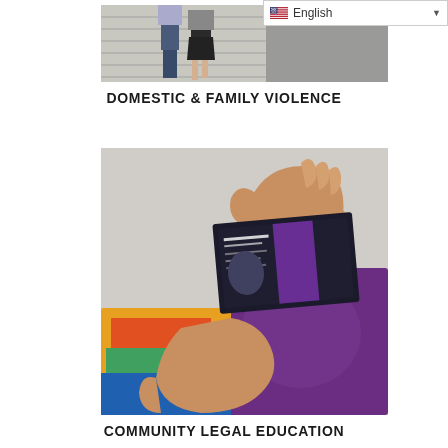[Figure (screenshot): Language selector widget showing English with flag icon and dropdown arrow]
[Figure (photo): Two people walking up concrete stairs, seen from behind — one in jeans and one in a skirt]
DOMESTIC & FAMILY VIOLENCE
[Figure (photo): Hands holding a South West Sydney domestic violence advocacy service brochure/card, with colorful pamphlets in background]
COMMUNITY LEGAL EDUCATION